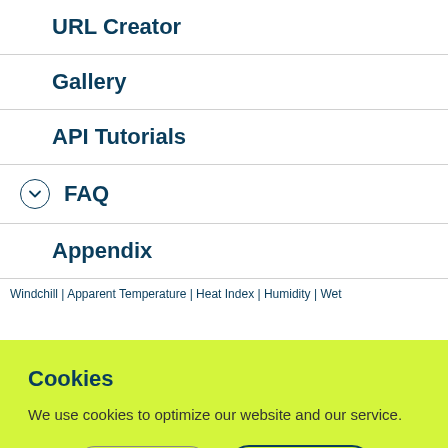URL Creator
Gallery
API Tutorials
FAQ
Appendix
Windchill | Apparent Temperature | Heat Index | Humidity | Wet...
Cookies
We use cookies to optimize our website and our service.
Decline  Accept
Privacy Policy  Imprint